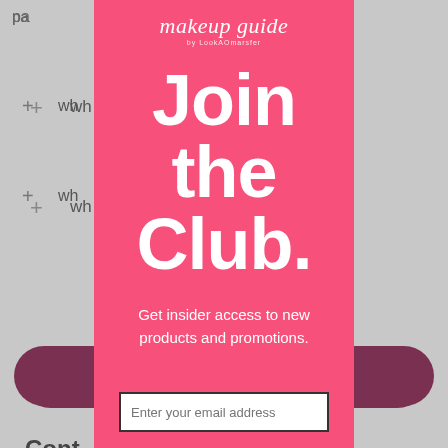[Figure (screenshot): Background webpage with gray overlay, showing partially visible FAQ-style content with plus icons, section header starting with 'Cont', text starting with 'More qu', and a dark purple button at the bottom]
[Figure (infographic): Pink modal overlay popup for 'makeup guide by LookAOmarsfer' newsletter signup with large white text 'Join the Club.' and tagline 'Get insider access to new products and promotions.' with an email input field at the bottom]